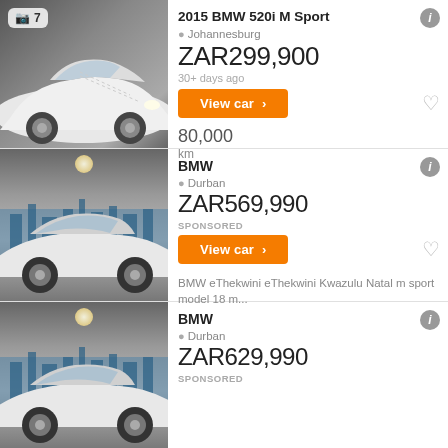[Figure (photo): White BMW 5 Series front view in parking garage, photo badge showing camera icon and 7]
2015 BMW 520i M Sport
Johannesburg
ZAR299,900
30+ days ago
80,000
km
[Figure (photo): White BMW coupe side view in showroom with city skyline mural background]
BMW
Durban
ZAR569,990
SPONSORED
BMW eThekwini eThekwini Kwazulu Natal m sport model 18 m...
[Figure (photo): White BMW coupe side view in showroom with city skyline mural background, partial view]
BMW
Durban
ZAR629,990
SPONSORED